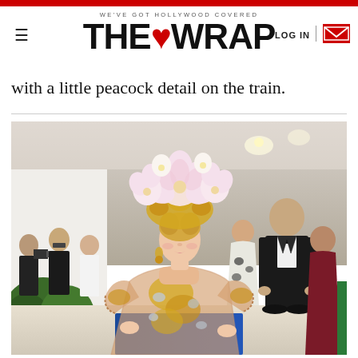WE'VE GOT HOLLYWOOD COVERED | THE WRAP | LOG IN
with a little peacock detail on the train.
[Figure (photo): A young woman in an ornate gold and pink embellished gown with puffed sleeves and a large floral headdress with pink and white flowers, standing on a red carpet event. People in formal attire are visible in the background.]